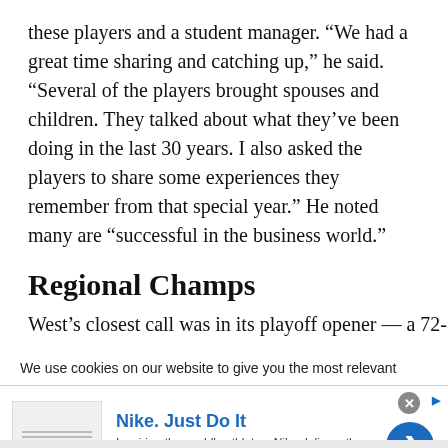these players and a student manager. “We had a great time sharing and catching up,” he said. “Several of the players brought spouses and children. They talked about what they’ve been doing in the last 30 years. I also asked the players to share some experiences they remember from that special year.” He noted many are “successful in the business world.”
Regional Champs
West’s closest call was in its playoff opener — a 72-
We use cookies on our website to give you the most relevant
[Figure (other): Nike advertisement banner with logo placeholder image, Nike. Just Do It headline, tagline 'Inspiring the world's athletes, Nike delivers the deals', www.nike.com URL, close button (X), and a blue circular CTA button with right arrow]